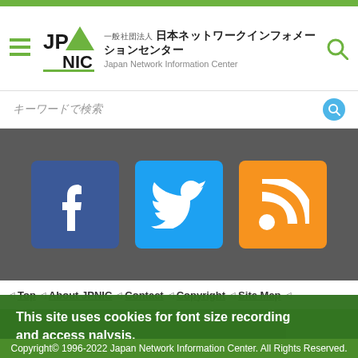[Figure (logo): JPNIC logo with green triangle and NIC letters, with Japanese text '一般社団法人 日本ネットワークインフォメーションセンター' and English 'Japan Network Information Center']
[Figure (screenshot): Search bar with placeholder text and blue circular icon]
[Figure (infographic): Three social media icons: Facebook (blue), Twitter (light blue), RSS (orange) on dark gray background]
◁ Top ◁ About JPNIC ◁ Contact ◁ Copyright ◁ Site Map ◁
This site uses cookies for font size recording and access nalysis.
[Figure (logo): JPNIC watermark logo in green footer area]
一般社団法人 日本ネットワークインフォメーションセンター
OK
Copyright© 1996-2022 Japan Network Information Center. All Rights Reserved.